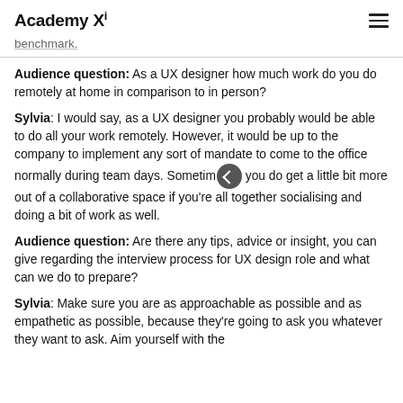Academy Xi
benchmark.
Audience question: As a UX designer how much work do you do remotely at home in comparison to in person?
Sylvia: I would say, as a UX designer you probably would be able to do all your work remotely. However, it would be up to the company to implement any sort of mandate to come to the office normally during team days. Sometimes you do get a little bit more out of a collaborative space if you're all together socialising and doing a bit of work as well.
Audience question: Are there any tips, advice or insight, you can give regarding the interview process for UX design role and what can we do to prepare?
Sylvia: Make sure you are as approachable as possible and as empathetic as possible, because they're going to ask you whatever they want to ask. Aim yourself with the